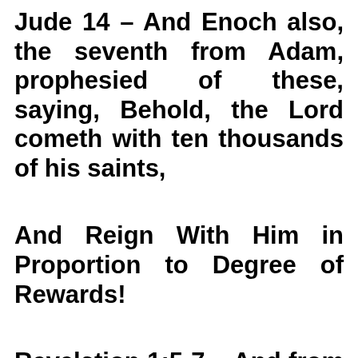Jude 14 – And Enoch also, the seventh from Adam, prophesied of these, saying, Behold, the Lord cometh with ten thousands of his saints,
And Reign With Him in Proportion to Degree of Rewards!
Revelation 1:5-7 – And from Jesus Christ, who is the faithful witness, and the first begotten of the dead, and the prince of the kings of the earth. Unto him